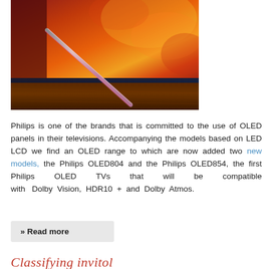[Figure (photo): Close-up photo of a Philips OLED TV showing the edge of the screen with vivid orange and red content on the display, resting on a wooden surface with a metallic stand/bar visible]
Philips is one of the brands that is committed to the use of OLED panels in their televisions. Accompanying the models based on LED LCD we find an OLED range to which are now added two new models, the Philips OLED804 and the Philips OLED854, the first Philips OLED TVs that will be compatible with Dolby Vision, HDR10 + and Dolby Atmos.
» Read more
Classifying invitol